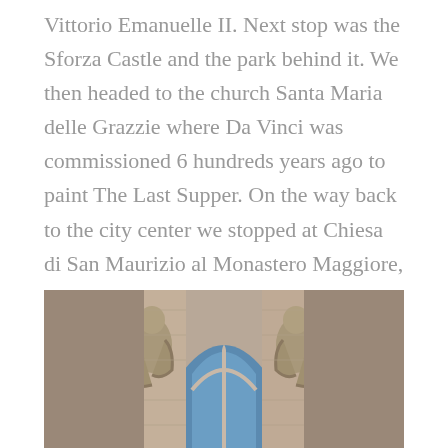Vittorio Emanuelle II. Next stop was the Sforza Castle and the park behind it. We then headed to the church Santa Maria delle Grazzie where Da Vinci was commissioned 6 hundreds years ago to paint The Last Supper. On the way back to the city center we stopped at Chiesa di San Maurizio al Monastero Maggiore, a truly remarkable site with remains from the roman city walls.
[Figure (photo): Architectural detail of a Gothic church facade showing carved stone gargoyles/figures flanking a pointed arch window with blue sky visible through the opening.]